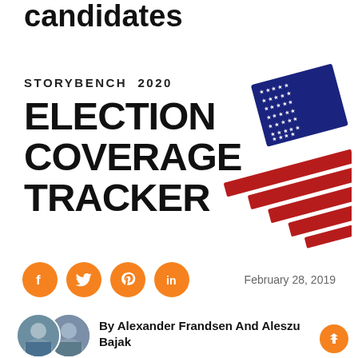candidates
[Figure (infographic): Storybench 2020 Election Coverage Tracker banner with American flag graphic (stars and stripes, tilted) on the right side]
February 28, 2019
[Figure (illustration): Social media icons: Facebook, Twitter, Pinterest, LinkedIn — orange circles with white icons]
[Figure (photo): Two author headshot photos overlapping]
By Alexander Frandsen And Aleszu Bajak